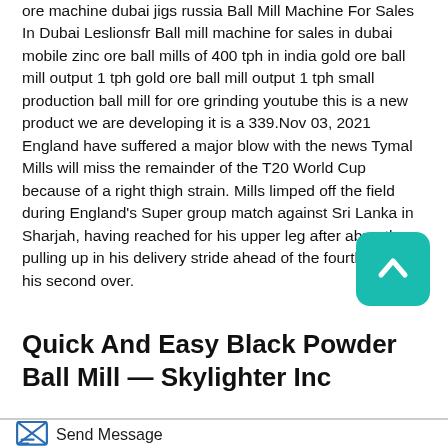ore machine dubai jigs russia Ball Mill Machine For Sales In Dubai Leslionsfr Ball mill machine for sales in dubai mobile zinc ore ball mills of 400 tph in india gold ore ball mill output 1 tph gold ore ball mill output 1 tph small production ball mill for ore grinding youtube this is a new product we are developing it is a 339.Nov 03, 2021 England have suffered a major blow with the news Tymal Mills will miss the remainder of the T20 World Cup because of a right thigh strain. Mills limped off the field during England's Super group match against Sri Lanka in Sharjah, having reached for his upper leg after abruptly pulling up in his delivery stride ahead of the fourth ball of his second over.
Quick And Easy Black Powder Ball Mill — Skylighter Inc
[Figure (other): Teal rounded square back-to-top button with upward chevron arrow icon]
Send Message | Free Consultation